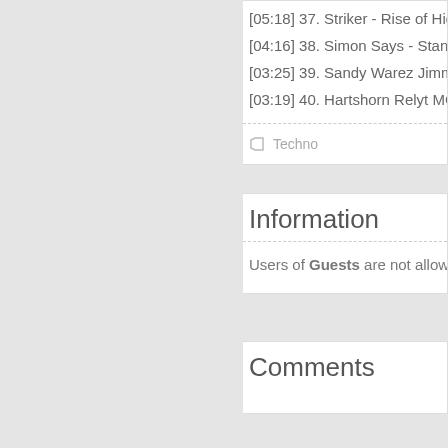[05:18] 37. Striker - Rise of Hig…
[04:16] 38. Simon Says - Stand…
[03:25] 39. Sandy Warez Jimm…
[03:19] 40. Hartshorn Relyt MC…
Techno
Information
Users of Guests are not allow…
Comments